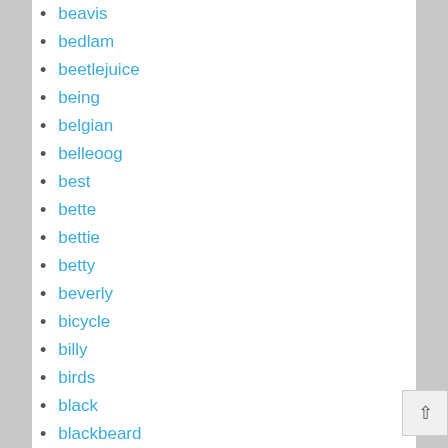beavis
bedlam
beetlejuice
being
belgian
belleoog
best
bette
bettie
betty
beverly
bicycle
billy
birds
black
blackbeard
blackglama
blade